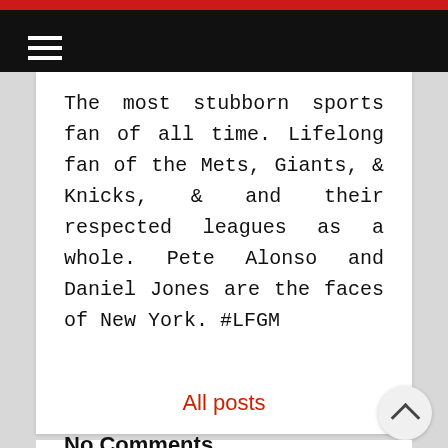[hamburger menu icon]
The most stubborn sports fan of all time. Lifelong fan of the Mets, Giants, & Knicks, & and their respected leagues as a whole. Pete Alonso and Daniel Jones are the faces of New York. #LFGM
All posts
No Comments